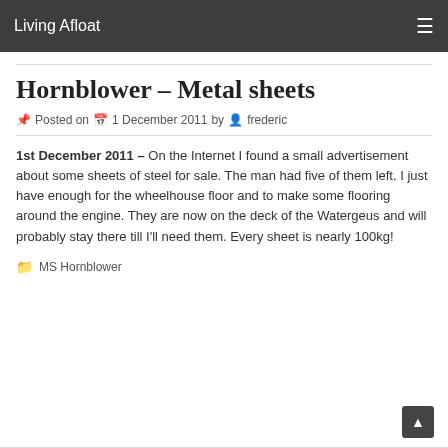Living Afloat
Hornblower – Metal sheets
Posted on 1 December 2011 by frederic
1st December 2011 – On the Internet I found a small advertisement about some sheets of steel for sale. The man had five of them left. I just have enough for the wheelhouse floor and to make some flooring around the engine. They are now on the deck of the Watergeus and will probably stay there till I'll need them. Every sheet is nearly 100kg!
MS Hornblower